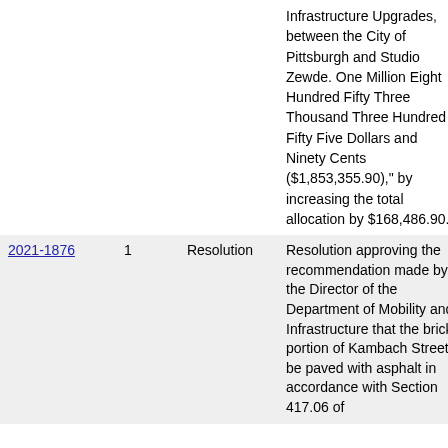|  |  | Type | Description | Status |
| --- | --- | --- | --- | --- |
|  |  |  | Infrastructure Upgrades, between the City of Pittsburgh and Studio Zewde. One Million Eight Hundred Fifty Three Thousand Three Hundred Fifty Five Dollars and Ninety Cents ($1,853,355.90)," by increasing the total allocation by $168,486.90. |  |
| 2021-1876 | 1 | Resolution | Resolution approving the recommendation made by the Director of the Department of Mobility and Infrastructure that the brick portion of Kambach Street be paved with asphalt in accordance with Section 417.06 of | Passed Finally |